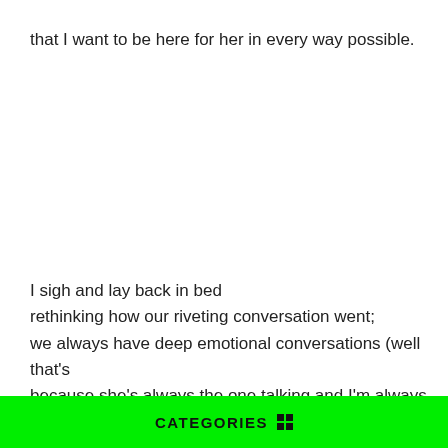that I want to be here for her in every way possible.
I sigh and lay back in bed
rethinking how our riveting conversation went;
we always have deep emotional conversations (well that's
because she's always the one talking and I'm always listening)
that go
on
CATEGORIES